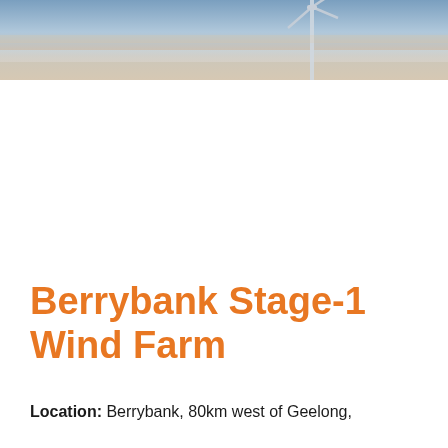[Figure (photo): Aerial/horizon photo of a wind turbine against a hazy blue-pink sky at dusk or dawn, cropped as a banner at the top of the page]
Berrybank Stage-1 Wind Farm
Location: Berrybank, 80km west of Geelong,